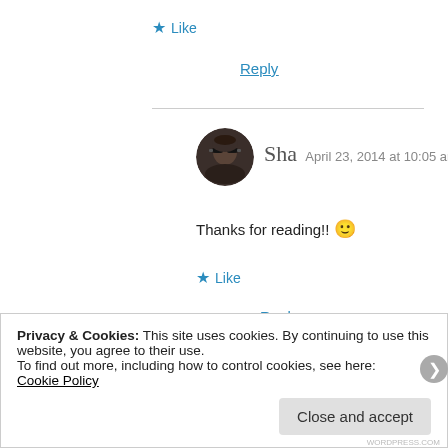★ Like
Reply
[Figure (photo): Avatar photo of Sha - circular profile picture of a person wearing sunglasses]
Sha  April 23, 2014 at 10:05 am
Thanks for reading!! 🙂
★ Like
Reply
Privacy & Cookies: This site uses cookies. By continuing to use this website, you agree to their use.
To find out more, including how to control cookies, see here:
Cookie Policy
Close and accept